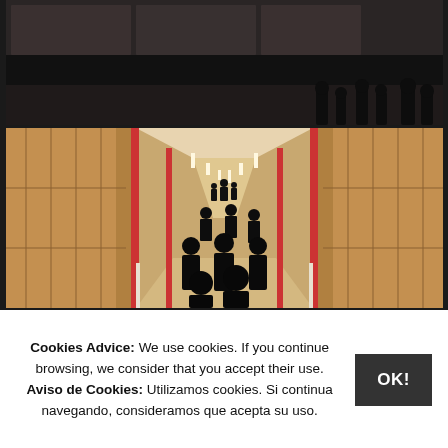[Figure (photo): Top photo: People in dark coats near train windows or a building exterior, dimly lit scene.]
[Figure (photo): Bottom photo: People dressed in black walking down a long corridor with wooden walls and panels, perspective view showing depth.]
Cookies Advice: We use cookies. If you continue browsing, we consider that you accept their use. Aviso de Cookies: Utilizamos cookies. Si continua navegando, consideramos que acepta su uso.